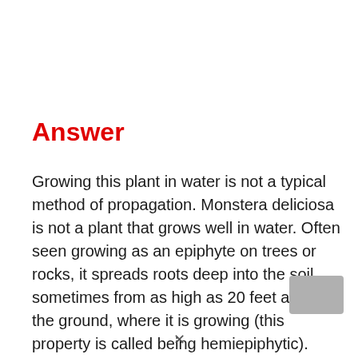Answer
Growing this plant in water is not a typical method of propagation. Monstera deliciosa is not a plant that grows well in water. Often seen growing as an epiphyte on trees or rocks, it spreads roots deep into the soil, sometimes from as high as 20 feet above the ground, where it is growing (this property is called being hemiepiphytic).